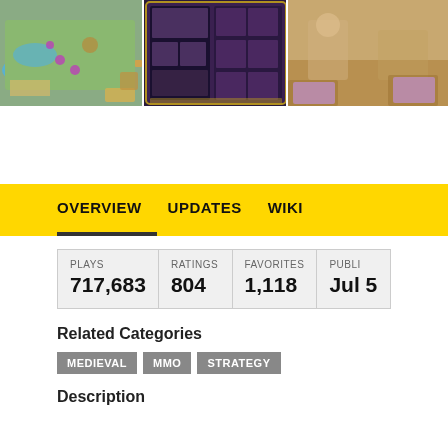[Figure (screenshot): Three game screenshots in a row: left shows an isometric map view, center shows a dark fantasy inventory/hero screen, right shows a partial isometric battle scene.]
OVERVIEW    UPDATES    WIKI
| PLAYS | RATINGS | FAVORITES | PUBLI... |
| --- | --- | --- | --- |
| 717,683 | 804 | 1,118 | Jul 5 |
Related Categories
MEDIEVAL
MMO
STRATEGY
Description